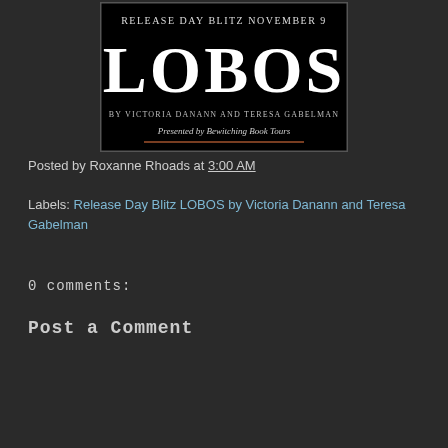[Figure (illustration): Black book banner for 'LOBOS' Release Day Blitz November 9, by Victoria Danann and Teresa Gabelman, Presented by Bewitching Book Tours, with orange decorative line]
Posted by Roxanne Rhoads at 3:00 AM
Labels: Release Day Blitz LOBOS by Victoria Danann and Teresa Gabelman
0 comments:
Post a Comment